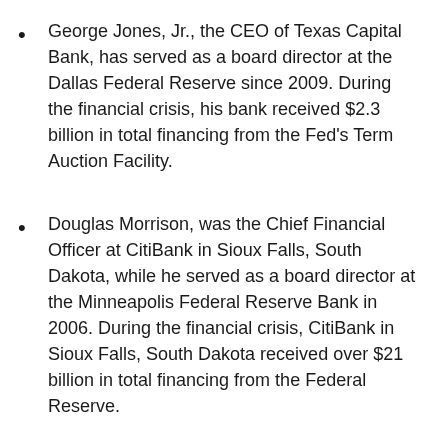George Jones, Jr., the CEO of Texas Capital Bank, has served as a board director at the Dallas Federal Reserve since 2009. During the financial crisis, his bank received $2.3 billion in total financing from the Fed's Term Auction Facility.
Douglas Morrison, was the Chief Financial Officer at CitiBank in Sioux Falls, South Dakota, while he served as a board director at the Minneapolis Federal Reserve Bank in 2006. During the financial crisis, CitiBank in Sioux Falls, South Dakota received over $21 billion in total financing from the Federal Reserve.